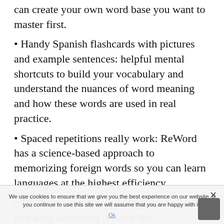can create your own word base you want to master first.
Handy Spanish flashcards with pictures and example sentences: helpful mental shortcuts to build your vocabulary and understand the nuances of word meaning and how these words are used in real practice.
Spaced repetitions really work: ReWord has a science-based approach to memorizing foreign words so you can learn languages at the highest efficiency.
Track your progress: daily goals will help you keep achieving it every day.
Learn Spanish offline: now it is possible to
We use cookies to ensure that we give you the best experience on our website. If you continue to use this site we will assume that you are happy with it.